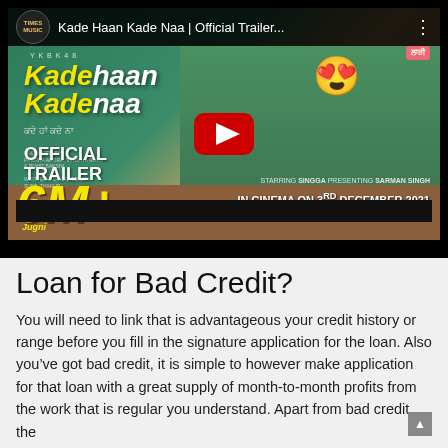[Figure (screenshot): YouTube video thumbnail for 'Kade Haan Kade Naa | Official Trailer' by Times Music. Shows movie poster with two actors, yellow movie title text, OFFICIAL TRAILER text, 6M+ views milestone, and play button. In Cinema on 3rd December 2021.]
Loan for Bad Credit?
You will need to link that is advantageous your credit history or range before you fill in the signature application for the loan. Also you’ve got bad credit, it is simple to however make application for that loan with a great supply of month-to-month profits from the work that is regular you understand. Apart from bad credit the...